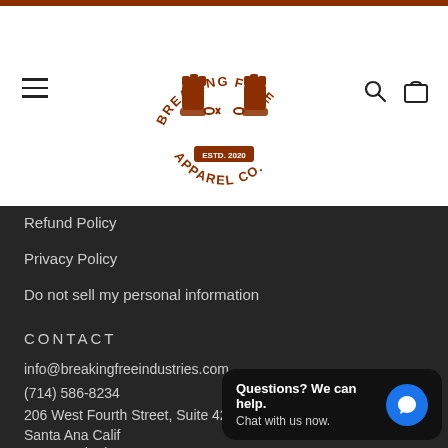Breaking Free Apparel Co. — navigation header with logo, hamburger menu, search and bag icons
Refund Policy
Privacy Policy
Do not sell my personal information
CONTACT
info@breakingfreeindustries.com
(714) 586-8234
206 West Fourth Street, Suite 425
Santa Ana California
92701 United States
[Figure (screenshot): Chat popup overlay: 'Questions? We can help. Chat with us now.' with blue chat bubble icon]